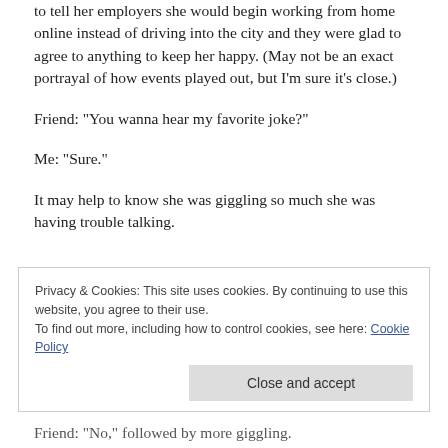to tell her employers she would begin working from home online instead of driving into the city and they were glad to agree to anything to keep her happy. (May not be an exact portrayal of how events played out, but I’m sure it’s close.)
Friend: “You wanna hear my favorite joke?”
Me: “Sure.”
It may help to know she was giggling so much she was having trouble talking.
Privacy & Cookies: This site uses cookies. By continuing to use this website, you agree to their use.
To find out more, including how to control cookies, see here: Cookie Policy
Close and accept
Friend: “No,” followed by more giggling.